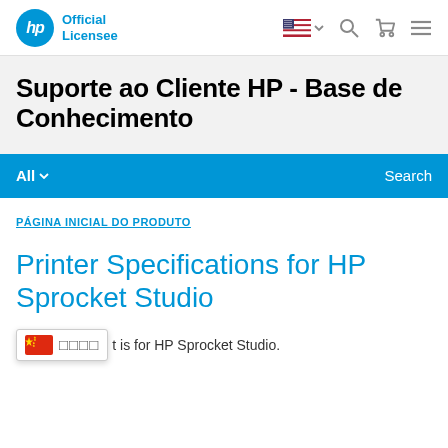HP Official Licensee
Suporte ao Cliente HP - Base de Conhecimento
All  Search
PÁGINA INICIAL DO PRODUTO
Printer Specifications for HP Sprocket Studio
t is for HP Sprocket Studio.